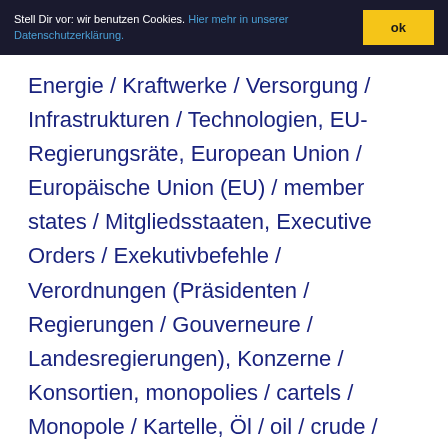Stell Dir vor: wir benutzen Cookies. Hier mehr in unserer Datenschutzerklärung. ok
Energie / Kraftwerke / Versorgung / Infrastrukturen / Technologien, EU-Regierungsräte, European Union / Europäische Union (EU) / member states / Mitgliedsstaaten, Executive Orders / Exekutivbefehle / Verordnungen (Präsidenten / Regierungen / Gouverneure / Landesregierungen), Konzerne / Konsortien, monopolies / cartels / Monopole / Kartelle, Öl / oil / crude / petroleum / fracking / industries /